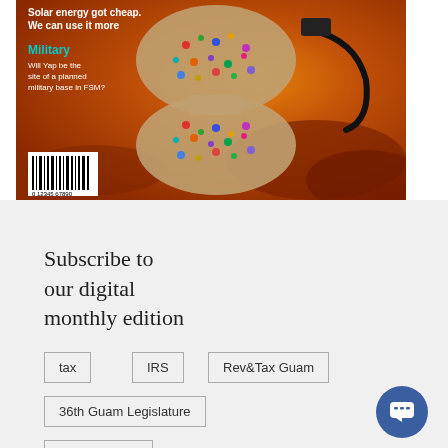[Figure (photo): Magazine cover with crowd forming hourglass shape against orange sky background. Text reads 'Solar energy got cheap. We can use it more' at top. Military section label in teal. Military base article teaser text. Barcode at bottom left.]
Subscribe to our digital monthly edition
tax
IRS
Rev&Tax Guam
36th Guam Legislature
Insular Cases
Insights • Tall Tales